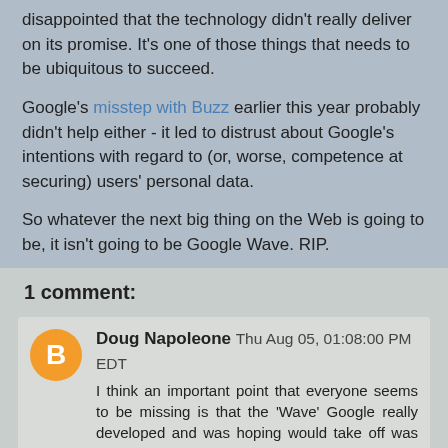disappointed that the technology didn't really deliver on its promise. It's one of those things that needs to be ubiquitous to succeed.
Google's misstep with Buzz earlier this year probably didn't help either - it led to distrust about Google's intentions with regard to (or, worse, competence at securing) users' personal data.
So whatever the next big thing on the Web is going to be, it isn't going to be Google Wave. RIP.
Steve at 12:15
1 comment:
Doug Napoleone Thu Aug 05, 01:08:00 PM EDT
I think an important point that everyone seems to be missing is that the 'Wave' Google really developed and was hoping would take off was the API/protocol. The 'Wave' everyone is talking about is the demo